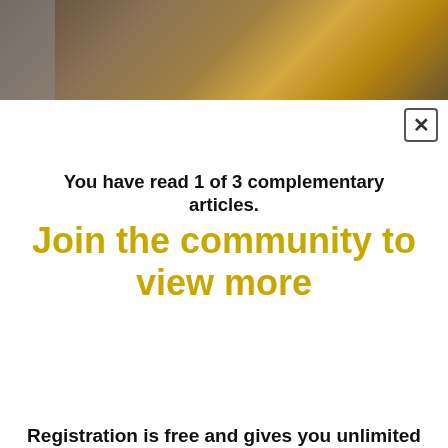[Figure (photo): Dark warm-toned background photo strip with blurred bokeh lighting, partially obscured on the left by a gray overlay]
You have read 1 of 3 complementary articles.
Join the community to view more
Registration is free and gives you unlimited